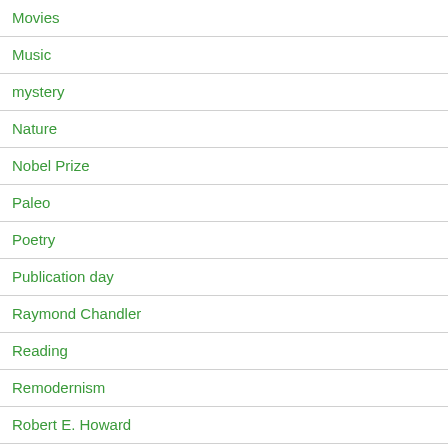Movies
Music
mystery
Nature
Nobel Prize
Paleo
Poetry
Publication day
Raymond Chandler
Reading
Remodernism
Robert E. Howard
Russell Kirk